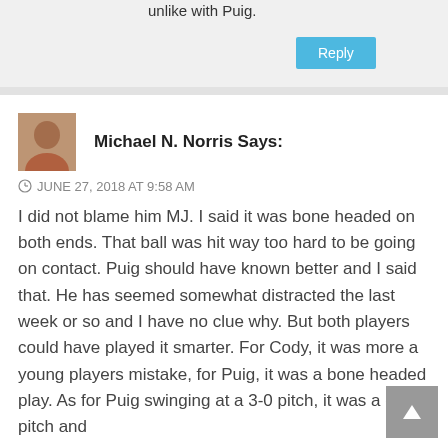unlike with Puig.
Reply
Michael N. Norris Says:
JUNE 27, 2018 AT 9:58 AM
I did not blame him MJ. I said it was bone headed on both ends. That ball was hit way too hard to be going on contact. Puig should have known better and I said that. He has seemed somewhat distracted the last week or so and I have no clue why. But both players could have played it smarter. For Cody, it was more a young players mistake, for Puig, it was a bone headed play. As for Puig swinging at a 3-0 pitch, it was a good pitch and